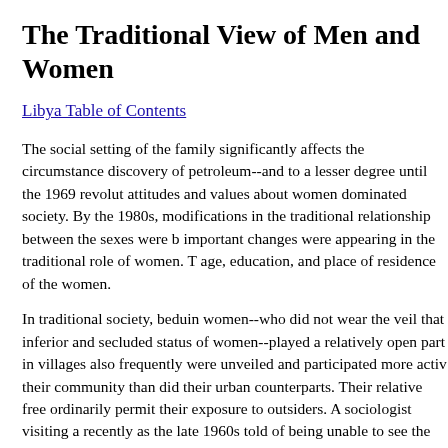The Traditional View of Men and Women
Libya Table of Contents
The social setting of the family significantly affects the circumstances of discovery of petroleum--and to a lesser degree until the 1969 revolution--traditional attitudes and values about women dominated society. By the 1980s, however, modifications in the traditional relationship between the sexes were becoming evident as important changes were appearing in the traditional role of women. These varied with age, education, and place of residence of the women.
In traditional society, beduin women--who did not wear the veil that symbolized the inferior and secluded status of women--played a relatively open part in life. Women in villages also frequently were unveiled and participated more actively in the life of their community than did their urban counterparts. Their relative freedom did not ordinarily permit their exposure to outsiders. A sociologist visiting a village as recently as the late 1960s told of being unable to see the women of the community and being forced to canvass their opinions by means of messages passed through men. The extent to which the community was changing, however, was indicated by the growing number of girls in secondary school and the ability of young women to obtain office jobs--opportunities that had come into being only during the 1960s.
Urban women tended to be more sophisticated and socially aware, but more conservative in social relations and dress. For example, unlike rural w